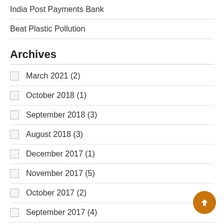India Post Payments Bank
Beat Plastic Pollution
Archives
March 2021 (2)
October 2018 (1)
September 2018 (3)
August 2018 (3)
December 2017 (1)
November 2017 (5)
October 2017 (2)
September 2017 (4)
August 2017 (12)
July 2017 (6)